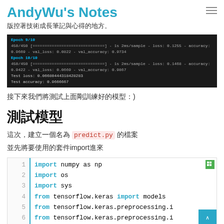AndyWu's Notes
版控著技術成長筆記與心得的地方。
[Figure (screenshot): Terminal output showing Keras training epochs 9/10 and 10/10 with loss/accuracy metrics, and test loss/accuracy values]
接下來我們將測試上面剛訓練好的模型：)
測試模型
這次，建立一個名為 predict.py 的檔案
並先將要使用的套件import進來
[Figure (screenshot): Code block with line numbers 1-6 showing Python import statements: import numpy as np, import os, import sys, from tensorflow.keras import models, from tensorflow.keras.preprocessing.i, from tensorflow.keras.preprocessing.i]